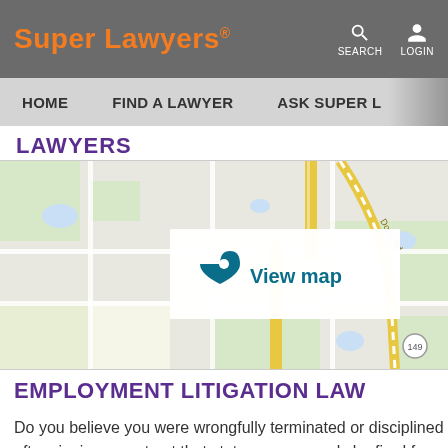Super Lawyers
HOME   FIND A LAWYER   ASK SUPER L...
LAWYERS
[Figure (map): Street map showing intersection area with Dodd Rd visible, road grid with yellow highlighted roads, and a 'View map' overlay button with location pin icon. Route 149 marker visible in lower right.]
EMPLOYMENT LITIGATION LAW
Do you believe you were wrongfully terminated or disciplined after signing a contract that states you can only be fired for